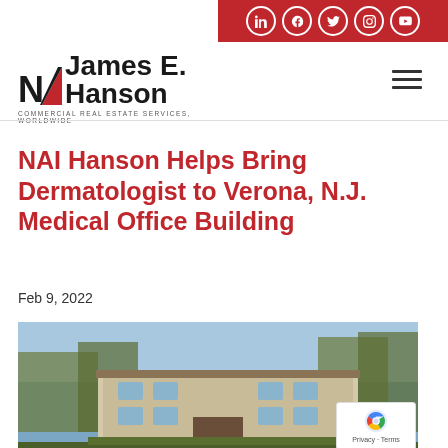[Figure (logo): Social media icons bar with LinkedIn, Facebook, Twitter, Instagram, YouTube icons on red background]
[Figure (logo): NAI James E. Hanson commercial real estate company logo with tagline COMMERCIAL REAL ESTATE SERVICES, WORLDWIDE]
NAI Hanson Helps Bring Dermatologist to Verona, N.J. Medical Office Building
Feb 9, 2022
[Figure (photo): Exterior photo of a multi-story medical office building in Verona, NJ with trees in background]